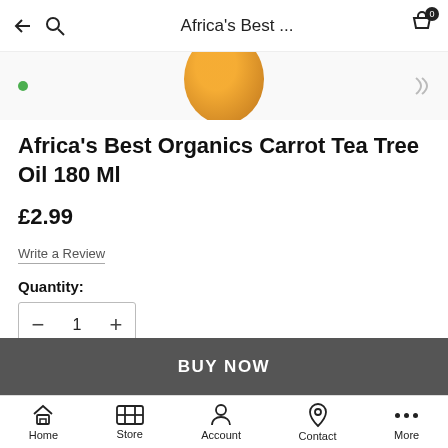Africa's Best ...
[Figure (photo): Partial product image showing amber/orange oil in a jar, with navigation dots visible at top-left and a partial icon at top-right]
Africa's Best Organics Carrot Tea Tree Oil 180 Ml
£2.99
Write a Review
Quantity:
- 1 +
BUY NOW
Home | Store | Account | Contact | More